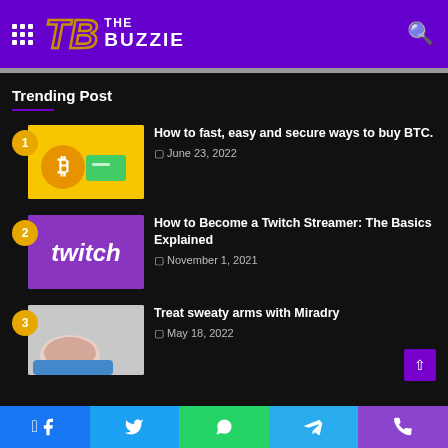THE BUZZIE
Trending Post
How to fast, easy and secure ways to buy BTC. — June 23, 2022
How to Become a Twitch Streamer: The Basics Explained — November 1, 2021
Treat sweaty arms with Miradry — May 18, 2022
Facebook | Twitter | WhatsApp | Telegram | Phone